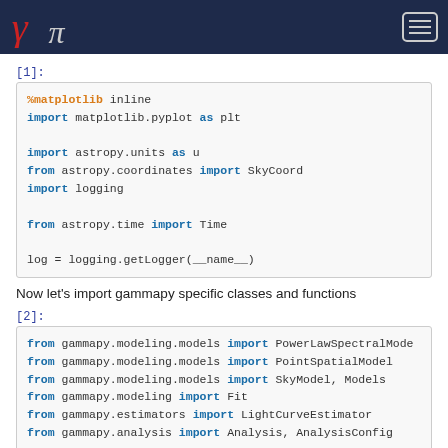gammapy logo and navigation
[1]:
%matplotlib inline
import matplotlib.pyplot as plt

import astropy.units as u
from astropy.coordinates import SkyCoord
import logging

from astropy.time import Time

log = logging.getLogger(__name__)
Now let's import gammapy specific classes and functions
[2]:
from gammapy.modeling.models import PowerLawSpectralMode
from gammapy.modeling.models import PointSpatialModel
from gammapy.modeling.models import SkyModel, Models
from gammapy.modeling import Fit
from gammapy.estimators import LightCurveEstimator
from gammapy.analysis import Analysis, AnalysisConfig